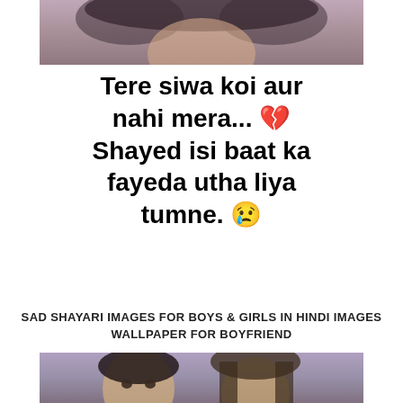[Figure (photo): Top partial photo of a person, cropped, dark hair visible against blurred background]
Tere siwa koi aur nahi mera... 💔 Shayed isi baat ka fayeda utha liya tumne. 😢
SAD SHAYARI IMAGES FOR BOYS & GIRLS IN HINDI IMAGES WALLPAPER FOR BOYFRIEND
[Figure (photo): Bottom partial photo of a man and woman, cropped at top of frame]